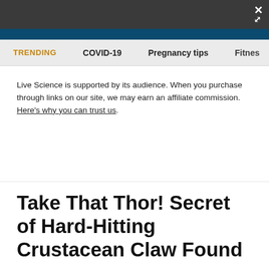TRENDING   COVID-19   Pregnancy tips   Fitnes
Live Science is supported by its audience. When you purchase through links on our site, we may earn an affiliate commission. Here's why you can trust us.
Take That Thor! Secret of Hard-Hitting Crustacean Claw Found